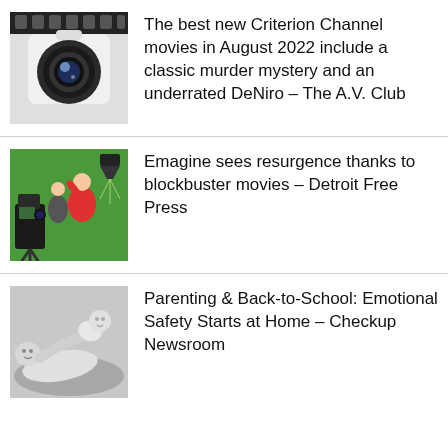The best new Criterion Channel movies in August 2022 include a classic murder mystery and an underrated DeNiro – The A.V. Club
Emagine sees resurgence thanks to blockbuster movies – Detroit Free Press
Parenting & Back-to-School: Emotional Safety Starts at Home – Checkup Newsroom